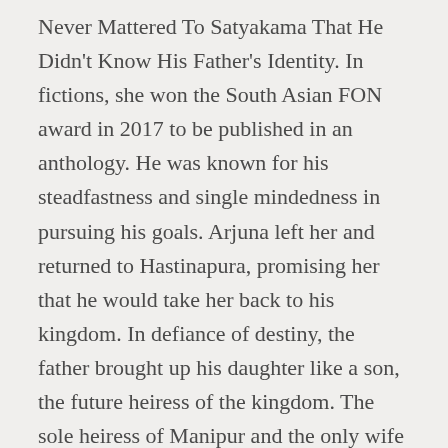Never Mattered To Satyakama That He Didn't Know His Father's Identity. In fictions, she won the South Asian FON award in 2017 to be published in an anthology. He was known for his steadfastness and single mindedness in pursuing his goals. Arjuna left her and returned to Hastinapura, promising her that he would take her back to his kingdom. In defiance of destiny, the father brought up his daughter like a son, the future heiress of the kingdom. The sole heiress of Manipur and the only wife who perhaps found her place of worth in the story, Chitrangada is arguably an unsung hero in Mahabharata. They were Bichitrabirya and Chitrangada. A pleasantly surprised, Chitrangada, begs Madan to restore her to her